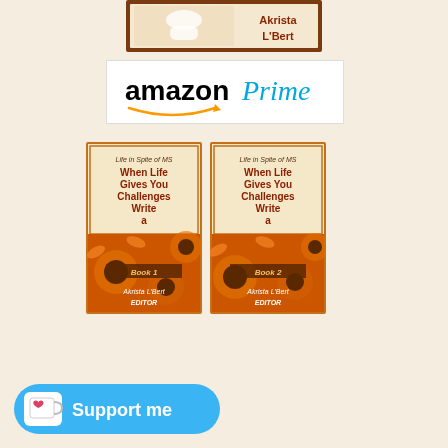[Figure (illustration): Book cover top portion showing 'Akrista L'Bert' text and a figure in white dress with decorative border]
[Figure (logo): Amazon Prime logo with black 'amazon' text, blue italic 'Prime' text, and Amazon smile arrow]
[Figure (illustration): Two book covers side by side for 'Life in Spite of MS - When Life Gives You Challenges Write a Poem' Book 1 and Book 2, both edited by Akrista L'Bert, with orange sunflower background]
[Figure (other): Ko-fi 'Support me' button in cyan/blue with cup icon and heart]